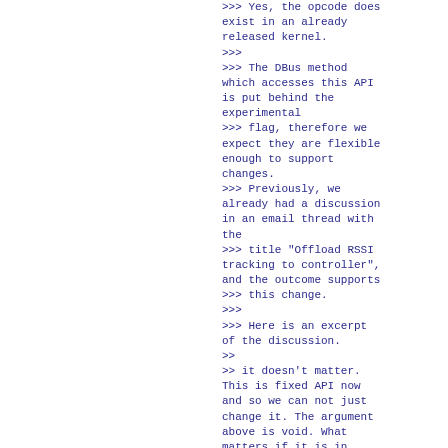>>> Yes, the opcode does exist in an already released kernel.
>>>
>>> The DBus method which accesses this API is put behind the experimental
>>> flag, therefore we expect they are flexible enough to support changes.
>>> Previously, we already had a discussion in an email thread with the
>>> title "Offload RSSI tracking to controller", and the outcome supports
>>> this change.
>>>
>>> Here is an excerpt of the discussion.
>>
>> it doesn't matter. This is fixed API now and so we can not just change it. The argument above is void. What matters if it is in